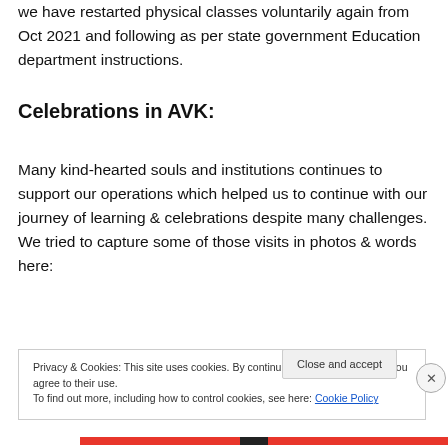we have restarted physical classes voluntarily again from Oct 2021 and following as per state government Education department instructions.
Celebrations in AVK:
Many kind-hearted souls and institutions continues to support our operations which helped us to continue with our journey of learning & celebrations despite many challenges. We tried to capture some of those visits in photos & words here:
Privacy & Cookies: This site uses cookies. By continuing to use this website, you agree to their use.
To find out more, including how to control cookies, see here: Cookie Policy